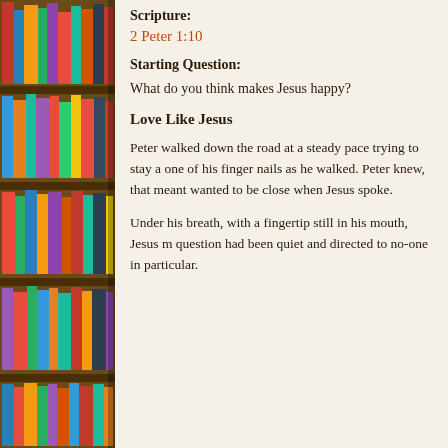[Figure (photo): Bookshelf with colorful books on the left side of the page]
Scripture:
2 Peter 1:10
Starting Question:
What do you think makes Jesus happy?
Love Like Jesus
Peter walked down the road at a steady pace trying to stay a one of his finger nails as he walked. Peter knew, that meant wanted to be close when Jesus spoke.
Under his breath, with a fingertip still in his mouth, Jesus m question had been quiet and directed to no-one in particular.